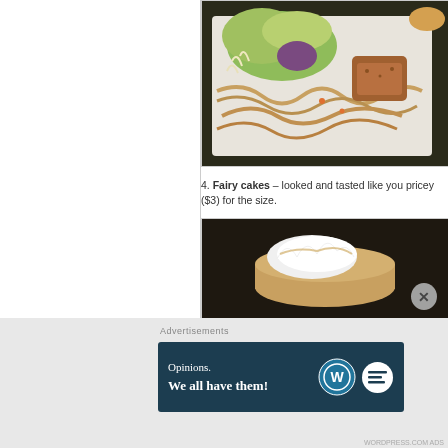[Figure (photo): Food photo showing noodles with vegetables and meat in a white styrofoam tray, with lettuce and purple cabbage visible]
4. Fairy cakes – looked and tasted like you pricey ($3) for the size.
[Figure (photo): Food photo showing a white cream/frosting topped fairy cake on dark background]
Advertisements
[Figure (infographic): WordPress advertisement banner with text 'Opinions. We all have them!' with WordPress logo and blog logo]